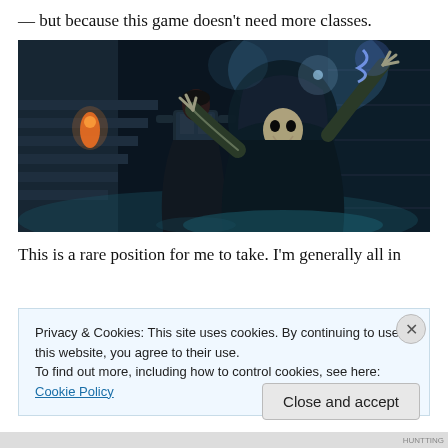— but because this game doesn't need more classes.
[Figure (illustration): Dark fantasy game screenshot showing a robed skeletal figure with claws raised, a dark-clothed warrior standing behind, and a glowing figure in the background, set in a stone staircase environment with blue-green atmospheric lighting.]
This is a rare position for me to take. I'm generally all in
Privacy & Cookies: This site uses cookies. By continuing to use this website, you agree to their use.
To find out more, including how to control cookies, see here: Cookie Policy
Close and accept